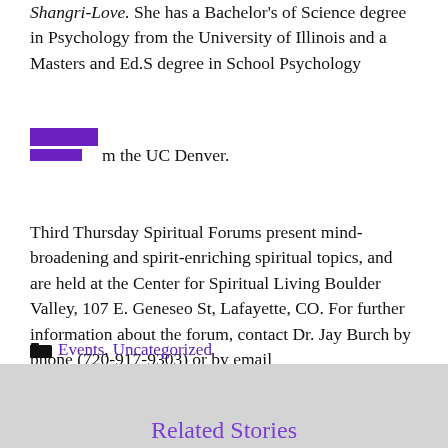Shangri-Love. She has a Bachelor's of Science degree in Psychology from the University of Illinois and a Masters and Ed.S degree in School Psychology from the UC Denver.
Third Thursday Spiritual Forums present mind-broadening and spirit-enriching spiritual topics, and are held at the Center for Spiritual Living Boulder Valley, 107 E. Geneseo St, Lafayette, CO. For further information about the forum, contact Dr. Jay Burch by phone (720-917-9303) or by email (jayburch333@gmail.com).
Categories: Events, Uncategorized
Related Stories